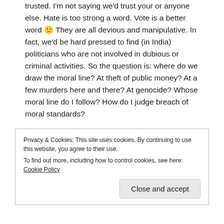trusted. I'm not saying we'd trust your or anyone else. Hate is too strong a word. Vote is a better word 🙂 They are all devious and manipulative. In fact, we'd be hard pressed to find (in India) politicians who are not involved in dubious or criminal activities. So the question is: where do we draw the moral line? At theft of public money? At a few murders here and there? At genocide? Whose moral line do I follow? How do I judge breach of moral standards?
It's the economy stupid – to paraphrase Bill C. When the economy goes down the toilet, that's when the crazies get to come out and play. The sooner we fix things and move the country along, we will unleash forces which will weed out polarizing figures like Modi and hypocritical figures (like
Privacy & Cookies: This site uses cookies. By continuing to use this website, you agree to their use.
To find out more, including how to control cookies, see here: Cookie Policy
Close and accept